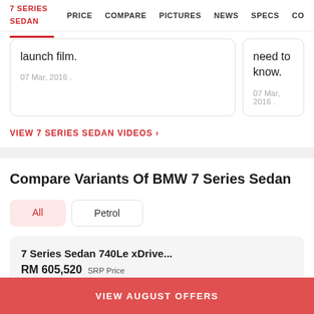7 SERIES SEDAN   PRICE   COMPARE   PICTURES   NEWS   SPECS   CO
launch film.
07 Mar, 2016 .
need to know.
07 Mar, 2016 .
VIEW 7 SERIES SEDAN VIDEOS >
Compare Variants Of BMW 7 Series Sedan
All
Petrol
7 Series Sedan 740Le xDrive...
RM 605,520  SRP Price
Base Variant Features
VIEW AUGUST OFFERS